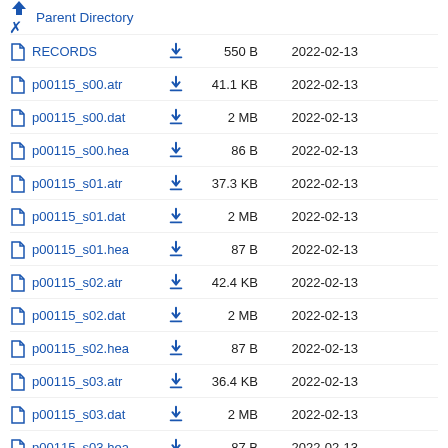Parent Directory
RECORDS  550 B  2022-02-13
p00115_s00.atr  41.1 KB  2022-02-13
p00115_s00.dat  2 MB  2022-02-13
p00115_s00.hea  86 B  2022-02-13
p00115_s01.atr  37.3 KB  2022-02-13
p00115_s01.dat  2 MB  2022-02-13
p00115_s01.hea  87 B  2022-02-13
p00115_s02.atr  42.4 KB  2022-02-13
p00115_s02.dat  2 MB  2022-02-13
p00115_s02.hea  87 B  2022-02-13
p00115_s03.atr  36.4 KB  2022-02-13
p00115_s03.dat  2 MB  2022-02-13
p00115_s03.hea  87 B  2022-02-13